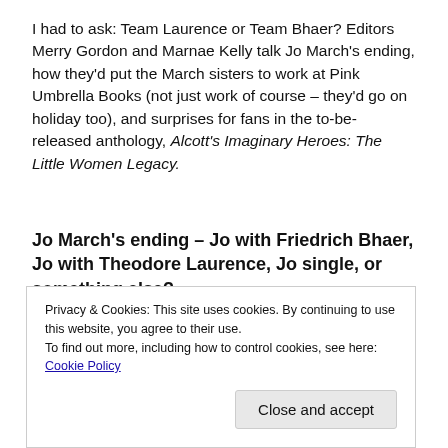I had to ask: Team Laurence or Team Bhaer? Editors Merry Gordon and Marnae Kelly talk Jo March's ending, how they'd put the March sisters to work at Pink Umbrella Books (not just work of course – they'd go on holiday too), and surprises for fans in the to-be-released anthology, Alcott's Imaginary Heroes: The Little Women Legacy.
Jo March's ending – Jo with Friedrich Bhaer, Jo with Theodore Laurence, Jo single, or something else?
MERRY: I'm Team Friedrich. Unpopular opinion,
Privacy & Cookies: This site uses cookies. By continuing to use this website, you agree to their use.
To find out more, including how to control cookies, see here: Cookie Policy